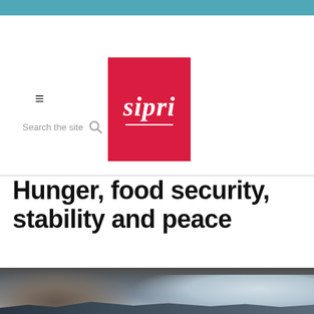[Figure (logo): SIPRI logo — red square background with white italic bold serif text 'sipri' and a white underline beneath]
Hunger, food security, stability and peace
[Figure (photo): Landscape photo showing dark smoke plumes on the left and white clouds over mountain ridgeline on the right, with a teal circular scroll-to-top button in the lower right corner]